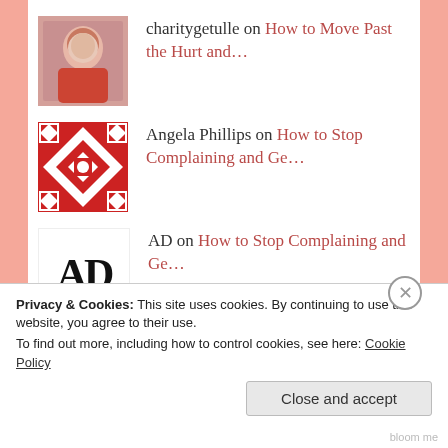charitygetulle on How to Move Past the Hurt and...
Angela Phillips on How to Stop Complaining and Ge...
AD on How to Stop Complaining and Ge...
Mitiya Medrano on How to Stop Complaining and Ge...
K ward on How to Stop Complaining and Ge...
Privacy & Cookies: This site uses cookies. By continuing to use this website, you agree to their use.
To find out more, including how to control cookies, see here: Cookie Policy
Close and accept